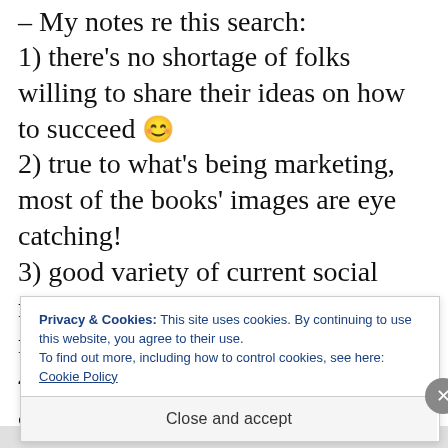– My notes re this search:
1) there's no shortage of folks willing to share their ideas on how to succeed 😊
2) true to what's being marketing, most of the books' images are eye catching!
3) good variety of current social media proponents hyping their fav methods
4) lot of titles with lots of reviews, always a good sign for browsing books
Privacy & Cookies: This site uses cookies. By continuing to use this website, you agree to their use.
To find out more, including how to control cookies, see here:
Cookie Policy
Close and accept